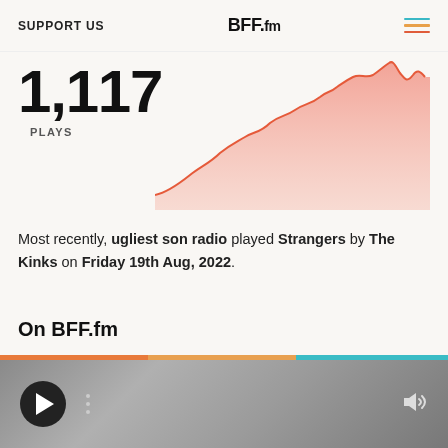SUPPORT US | BFF.fm | [menu]
[Figure (area-chart): Area chart showing play counts over time with a rising trend, salmon/coral colored area fill with line on top]
Most recently, ugliest son radio played Strangers by The Kinks on Friday 19th Aug, 2022.
On BFF.fm
BFF.fm has played BMG releases from artists such as Karen O / Danger Mouse, Bloc Party, Hercules & Love Affair, Nina Simone, Sparks, Harry Nilsson, Jeanette, Wiley, Danger Mouse and Black Thought, Lou Reed, Esmé Patterson, Loose Joints, Anthrax, SWV,
[player controls]